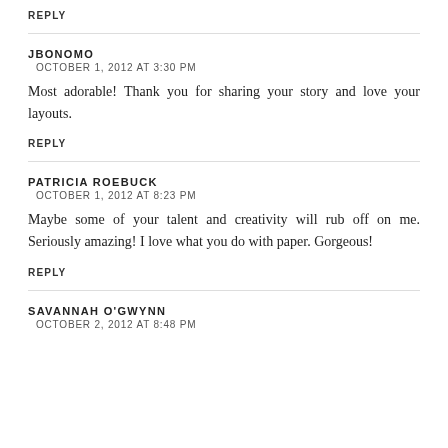REPLY
JBONOMO
OCTOBER 1, 2012 AT 3:30 PM
Most adorable! Thank you for sharing your story and love your layouts.
REPLY
PATRICIA ROEBUCK
OCTOBER 1, 2012 AT 8:23 PM
Maybe some of your talent and creativity will rub off on me. Seriously amazing! I love what you do with paper. Gorgeous!
REPLY
SAVANNAH O'GWYNN
OCTOBER 2, 2012 AT 8:48 PM